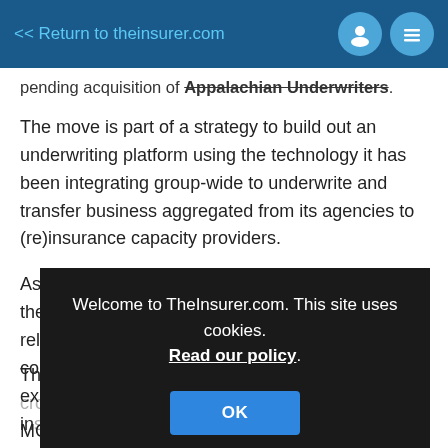<< Return to theinsurer.com
pending acquisition of Appalachian Underwriters.
The move is part of a strategy to build out an underwriting platform using the technology it has been integrating group-wide to underwrite and transfer business aggregated from its agencies to (re)insurance capacity providers.
As it unveiled the SUNZ acquisition, Acrisure said the deal would be followed by a number of other related and co[mplementary transactions expected to] ex[pand its] in[surance platform]
Welcome to TheInsurer.com. This site uses cookies. Read our policy.
OK
Th[eInsurer.com describes it as an already crowded] MGA acquirer space that includes the growing